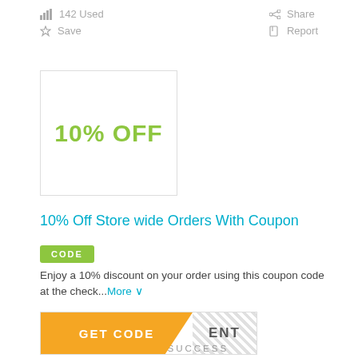142 Used
Share
Save
Report
[Figure (other): Coupon box showing 10% OFF in green text with a border]
10% Off Store wide Orders With Coupon
CODE
Enjoy a 10% discount on your order using this coupon code at the check...More
GET CODE  ENT
100% SUCCESS